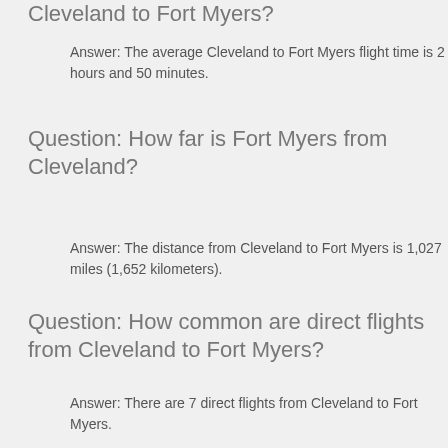Cleveland to Fort Myers?
Answer: The average Cleveland to Fort Myers flight time is 2 hours and 50 minutes.
Question: How far is Fort Myers from Cleveland?
Answer: The distance from Cleveland to Fort Myers is 1,027 miles (1,652 kilometers).
Question: How common are direct flights from Cleveland to Fort Myers?
Answer: There are 7 direct flights from Cleveland to Fort Myers.